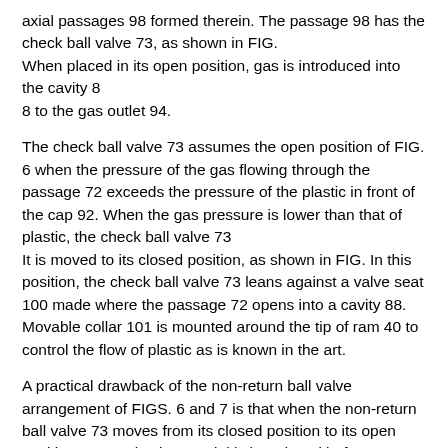axial passages 98 formed therein. The passage 98 has the check ball valve 73, as shown in FIG.
When placed in its open position, gas is introduced into the cavity 8
8 to the gas outlet 94.
The check ball valve 73 assumes the open position of FIG. 6 when the pressure of the gas flowing through the passage 72 exceeds the pressure of the plastic in front of the cap 92. When the gas pressure is lower than that of plastic, the check ball valve 73
It is moved to its closed position, as shown in FIG. In this position, the check ball valve 73 leans against a valve seat 100 made where the passage 72 opens into a cavity 88. Movable collar 101 is mounted around the tip of ram 40 to control the flow of plastic as is known in the art.
A practical drawback of the non-return ball valve arrangement of FIGS. 6 and 7 is that when the non-return ball valve 73 moves from its closed position to its open position, some plastic material is introduced before gas begins to flow from the cap 92. From the cavity 88 and the outlet 94
It lies in the fact that it cannot be controlled from. During of